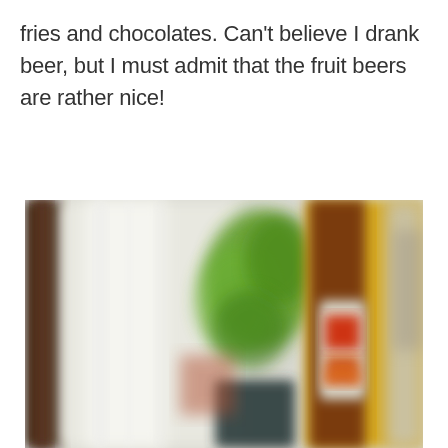fries and chocolates. Can't believe I drank beer, but I must admit that the fruit beers are rather nice!
[Figure (photo): A blurry close-up photo taken inside what appears to be a bar or restaurant. On the left is a dark wooden frame or post. In the center-left is a bright window with sheer curtains letting in light. In the center is a blurry green plant (hops or similar). On the right side is a yellow wall with a framed beer bottle or sign featuring red and brown colors. The image is out of focus throughout.]